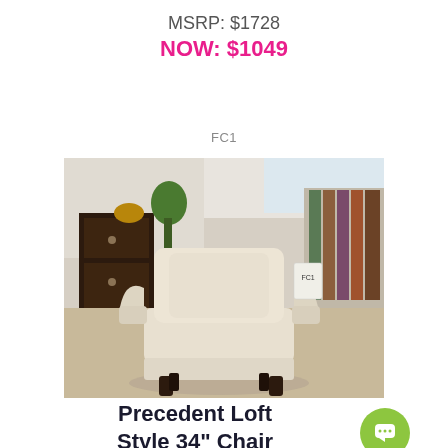MSRP: $1728
NOW: $1049
FC1
[Figure (photo): A cream/beige upholstered armchair with sloped arms and dark wooden legs, displayed in a furniture showroom. Area rugs and other furniture visible in the background.]
Precedent Loft Style 34" Chair